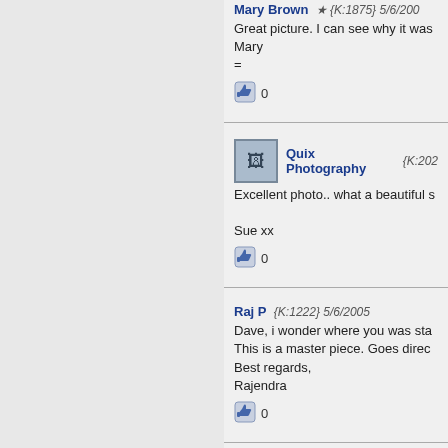Mary Brown {K:1875} 5/6/2005 — Great picture. I can see why it was... Mary =
0
Quix Photography {K:202...} — Excellent photo.. what a beautiful s... Sue xx
0
Raj P {K:1222} 5/6/2005 — Dave, i wonder where you was sta... This is a master piece. Goes direc... Best regards, Rajendra
0
Felipe Souza {K:1499} 5/6/2005 — Great Dave... congrats. :-)